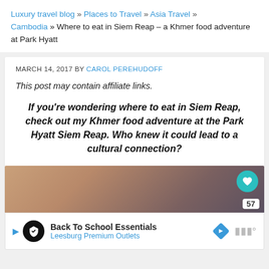Luxury travel blog » Places to Travel » Asia Travel » Cambodia » Where to eat in Siem Reap – a Khmer food adventure at Park Hyatt
MARCH 14, 2017 BY CAROL PEREHUDOFF
This post may contain affiliate links.
If you're wondering where to eat in Siem Reap, check out my Khmer food adventure at the Park Hyatt Siem Reap. Who knew it could lead to a cultural connection?
[Figure (photo): Warm-toned gradient image, tan/brown to dark purple-gray, with a teal heart/favorite button overlay (57 count)]
Back To School Essentials Leesburg Premium Outlets